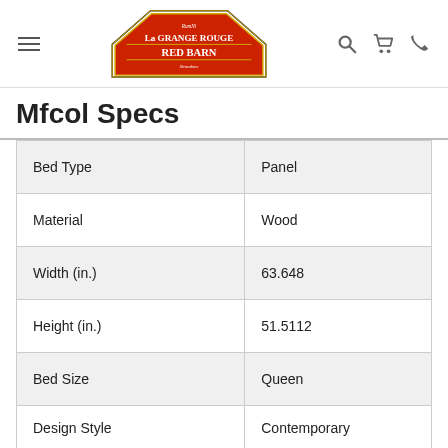[Figure (logo): La Grange Rouge Red Barn logo — red barn-shaped sign with gold border and text]
Mfcol Specs
| Bed Type | Panel |
| Material | Wood |
| Width (in.) | 63.648 |
| Height (in.) | 51.5112 |
| Bed Size | Queen |
| Design Style | Contemporary |